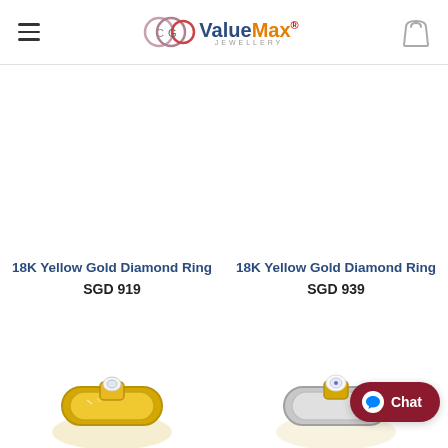ValueMax Jewellery
18K Yellow Gold Diamond Ring SGD 919
18K Yellow Gold Diamond Ring SGD 939
[Figure (photo): Partial view of two yellow gold diamond rings at bottom of page]
Chat